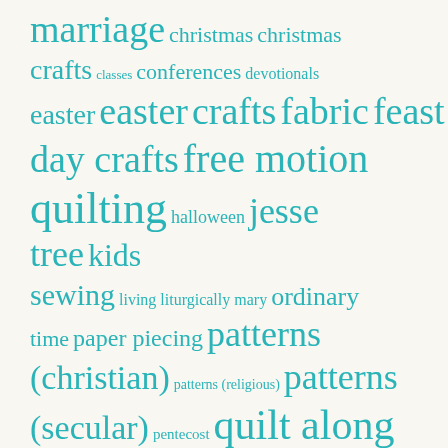[Figure (infographic): Tag cloud with various crafts and religious topics in teal/turquoise color on off-white background. Tags vary in size indicating frequency/importance: marriage, christmas, christmas crafts, classes, conferences, devotionals, easter, easter crafts, fabric, feast day crafts, free motion quilting, halloween, jesse tree, kids, sewing, living liturgically, mary, ordinary time, paper piecing, patterns (christian), patterns (religious), patterns (secular), pentecost, quilt along, random sewing, sew-a-saint]